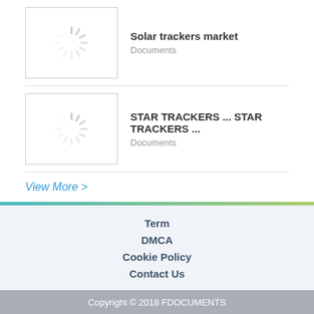[Figure (illustration): Loading spinner icon (circular dashed grey spinner)]
Solar trackers market
Documents
[Figure (illustration): Loading spinner icon (circular dashed grey spinner)]
STAR TRACKERS ... STAR TRACKERS ...
Documents
View More >
Term
DMCA
Cookie Policy
Contact Us
Copyright © 2018 FDOCUMENTS